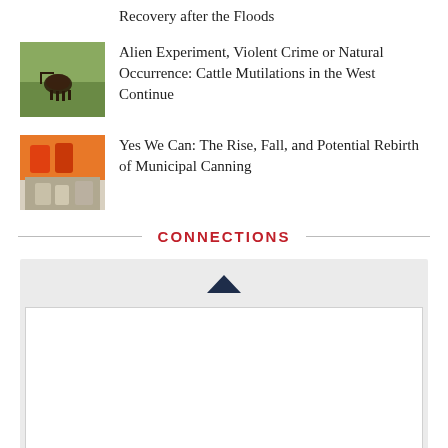Recovery after the Floods
Alien Experiment, Violent Crime or Natural Occurrence: Cattle Mutilations in the West Continue
Yes We Can: The Rise, Fall, and Potential Rebirth of Municipal Canning
CONNECTIONS
[Figure (other): A connections widget box with a chevron up arrow icon and a white inner panel below it on a light grey background]